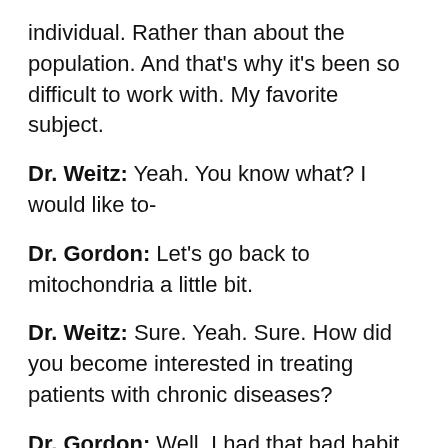individual. Rather than about the population. And that's why it's been so difficult to work with. My favorite subject.
Dr. Weitz: Yeah. You know what? I would like to-
Dr. Gordon: Let's go back to mitochondria a little bit.
Dr. Weitz: Sure. Yeah. Sure. How did you become interested in treating patients with chronic diseases?
Dr. Gordon: Well, I had that bad habit of I believe people. Okay? And when you are a doctor, especially when you are in the hospital, you're used to people who come in and they